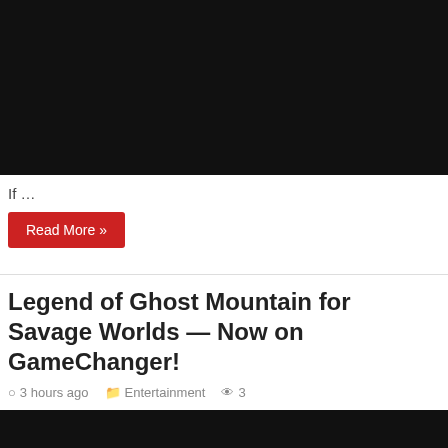[Figure (photo): Black image/video block at top of page]
If …
Read More »
Legend of Ghost Mountain for Savage Worlds — Now on GameChanger!
3 hours ago  Entertainment  3
[Figure (photo): Black image/video block at bottom of page]